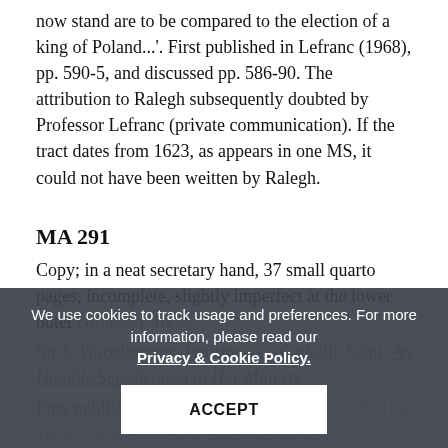now stand are to be compared to the election of a king of Poland...'. First published in Lefranc (1968), pp. 590-5, and discussed pp. 586-90. The attribution to Ralegh subsequently doubted by Professor Lefranc (private communication). If the tract dates from 1623, as appears in one MS, it could not have been weitten by Ralegh.
MA 291
Copy; in a neat secretary hand, 37 small quarto pages, incomplete, slightly imperfect at the lower outer corners, c.1600.
Sir J. Throckmorton (writing as a Catholic Saint, An Humble Supplication to Her Majesty
First published (by a secret English press) 1595 [for 1600?]. Edited by R.C. Bald: Cambridge, 1953).